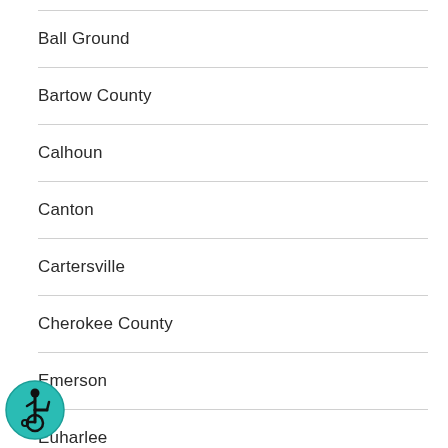Ball Ground
Bartow County
Calhoun
Canton
Cartersville
Cherokee County
Emerson
Euharlee
Fairmount
Gordon County
[Figure (illustration): Accessibility icon: teal circle with wheelchair user symbol in black]